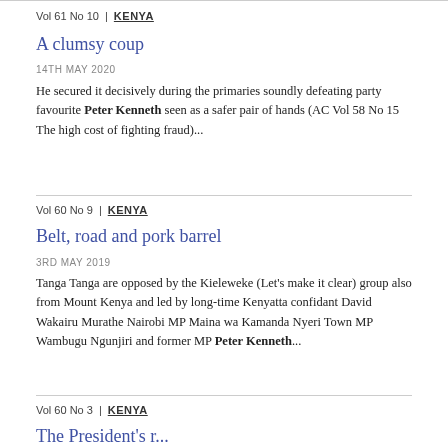Vol 61 No 10 | KENYA
A clumsy coup
14TH MAY 2020
He secured it decisively during the primaries soundly defeating party favourite Peter Kenneth seen as a safer pair of hands (AC Vol 58 No 15 The high cost of fighting fraud)...
Vol 60 No 9 | KENYA
Belt, road and pork barrel
3RD MAY 2019
Tanga Tanga are opposed by the Kieleweke (Let's make it clear) group also from Mount Kenya and led by long-time Kenyatta confidant David Wakairu Murathe Nairobi MP Maina wa Kamanda Nyeri Town MP Wambugu Ngunjiri and former MP Peter Kenneth...
Vol 60 No 3 | KENYA
The President's r...